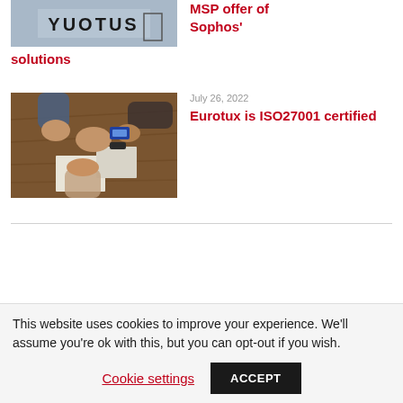[Figure (photo): Partial view of a photo showing text 'Yuotus' on a wall, appears to be an office/building signage.]
MSP offer of Sophos'
solutions
[Figure (photo): Aerial view of people putting hands together on a wooden table, a teamwork/collaboration photo. Date: July 26, 2022.]
July 26, 2022
Eurotux is ISO27001 certified
This website uses cookies to improve your experience. We'll assume you're ok with this, but you can opt-out if you wish.
Cookie settings
ACCEPT